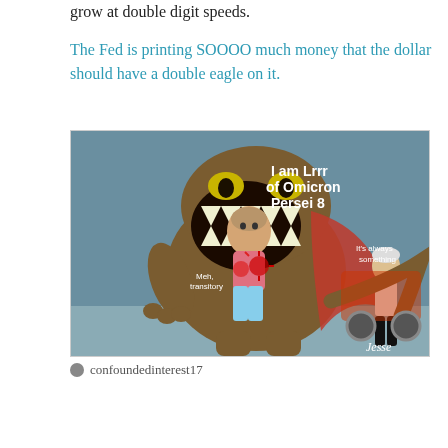grow at double digit speeds.
The Fed is printing SOOOO much money that the dollar should have a double eagle on it.
[Figure (illustration): A humorous meme image showing a cartoon monster (Lrrr from Futurama) with text 'I am Lrrr of Omicron Persei 8', a person with Jerome Powell's face saying 'Meh, transitory', covid virus imagery, and a figure resembling Janet Yellen on the right saying 'It's always something'. Watermark 'Jesse' in bottom right.]
confoundedinterest17